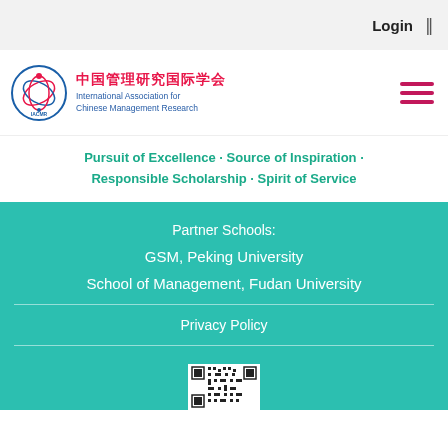Login
[Figure (logo): IACMR logo with circular emblem and Chinese/English text: 中国管理研究国际学会 / International Association for Chinese Management Research]
Pursuit of Excellence · Source of Inspiration · Responsible Scholarship · Spirit of Service
Partner Schools:
GSM, Peking University
School of Management, Fudan University
Privacy Policy
[Figure (other): QR code image (partial, bottom of page)]